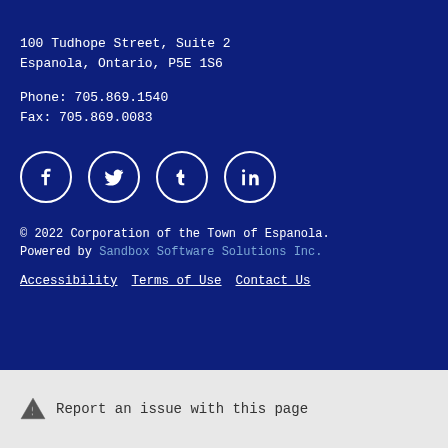100 Tudhope Street, Suite 2
Espanola, Ontario, P5E 1S6
Phone: 705.869.1540
Fax: 705.869.0083
[Figure (infographic): Row of four social media icon circles: Facebook, Twitter, Tumblr, LinkedIn]
© 2022 Corporation of the Town of Espanola.
Powered by Sandbox Software Solutions Inc.
Accessibility   Terms of Use   Contact Us
⚠ Report an issue with this page